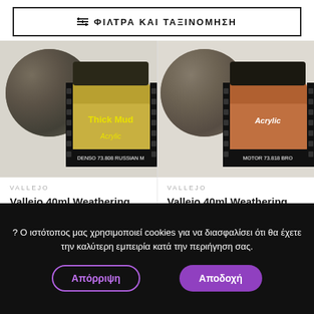≡ ΦΙΛΤΡΑ ΚΑΙ ΤΑΞΙΝΟΜΗΣΗ
[Figure (photo): Product photo of Vallejo 40ml Weathering Effects Russian Mud #73808 jar with rocky terrain]
VALLEJO
Vallejo 40ml Weathering Effects - Russian Mud # 73808
€ 4,99
[Figure (photo): Product photo of Vallejo 40ml Weathering Effects Brown Engine Soot #73818 jar with terrain]
VALLEJO
Vallejo 40ml Weathering Effects - Brown Engine Soot # 73818
€ 4,99
? Ο ιστότοπος μας χρησιμοποιεί cookies για να διασφαλίσει ότι θα έχετε την καλύτερη εμπειρία κατά την περιήγηση σας.
Απόρριψη
Αποδοχή